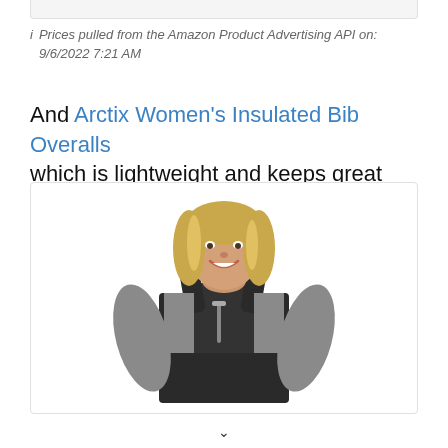i  Prices pulled from the Amazon Product Advertising API on: 9/6/2022 7:21 AM
And Arctix Women's Insulated Bib Overalls which is lightweight and keeps great warmth.
[Figure (photo): Woman wearing black bib overalls over a gray long-sleeve shirt, smiling, shown from waist up.]
∨